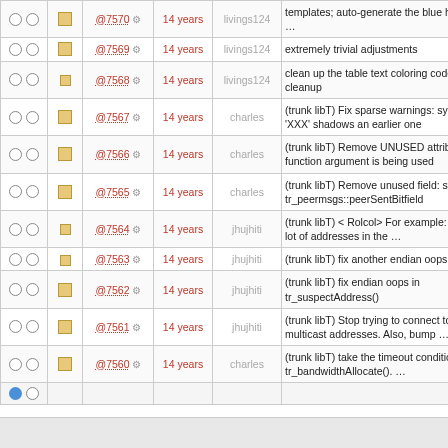|  |  | Rev | Age | Author | Log Message |
| --- | --- | --- | --- | --- | --- |
| ○ ○ | ▪ | @7570 ⚙ | 14 years | livings124 | templates; auto-generate the blue highlight … |
| ○ ○ | ▪ | @7569 ⚙ | 14 years | livings124 | extremely trivial adjustments |
| ○ ○ | ▪ | @7568 ⚙ | 14 years | livings124 | clean up the table text coloring code; trivial cleanup |
| ○ ○ | ▪ | @7567 ⚙ | 14 years | charles | (trunk libT) Fix sparse warnings: symbol 'XXX' shadows an earlier one |
| ○ ○ | ▪ | @7566 ⚙ | 14 years | charles | (trunk libT) Remove UNUSED attribute, the function argument is being used |
| ○ ○ | ▪ | @7565 ⚙ | 14 years | charles | (trunk libT) Remove unused field: struct tr_peermsgs::peerSentBitfield |
| ○ ○ | ▪ | @7564 ⚙ | 14 years | jhujhiti | (trunk libT) < Rolcol> For example: I have a lot of addresses in the … |
| ○ ○ | ▪ | @7563 ⚙ | 14 years | jhujhiti | (trunk libT) fix another endian oops |
| ○ ○ | ▪ | @7562 ⚙ | 14 years | jhujhiti | (trunk libT) fix endian oops in tr_suspectAddress() |
| ○ ○ | ▪ | @7561 ⚙ | 14 years | jhujhiti | (trunk libT) Stop trying to connect to multicast addresses. Also, bump … |
| ○ ○ | ▪ | @7560 ⚙ | 14 years | charles | (trunk libT) take the timeout condition out of tr_bandwidthAllocate(). … |
| ● ○ |  |  |  |  |  |